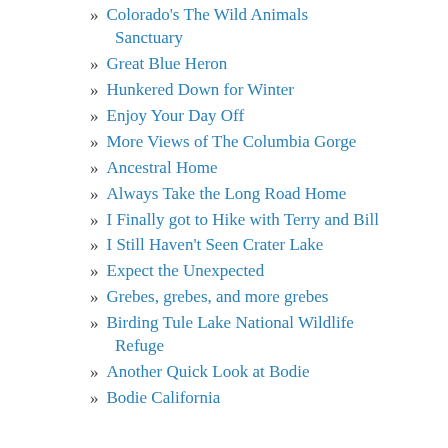Colorado's The Wild Animals Sanctuary
Great Blue Heron
Hunkered Down for Winter
Enjoy Your Day Off
More Views of The Columbia Gorge
Ancestral Home
Always Take the Long Road Home
I Finally got to Hike with Terry and Bill
I Still Haven't Seen Crater Lake
Expect the Unexpected
Grebes, grebes, and more grebes
Birding Tule Lake National Wildlife Refuge
Another Quick Look at Bodie
Bodie California